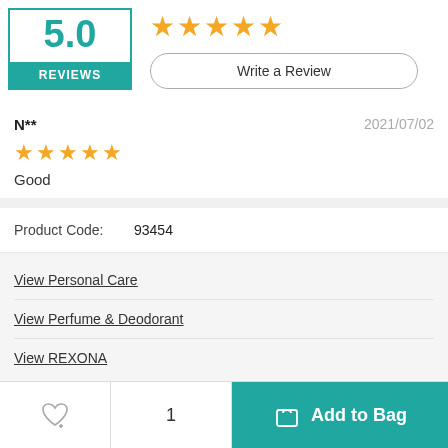[Figure (other): Product review score box showing 5.0 in teal with REVIEWS label, five gold stars, and a Write a Review button]
N**
2021/07/02
Good
| Product Code: | 93454 |
| --- | --- |
View Personal Care
View Perfume & Deodorant
View REXONA
1
Add to Bag